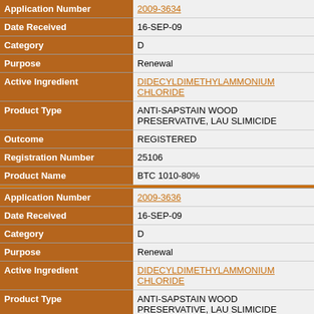| Field | Value |
| --- | --- |
| Application Number | 2009-3634 |
| Date Received | 16-SEP-09 |
| Category | D |
| Purpose | Renewal |
| Active Ingredient | DIDECYLDIMETHYLAMMONIUM CHLORIDE |
| Product Type | ANTI-SAPSTAIN WOOD PRESERVATIVE, LAU SLIMICIDE |
| Outcome | REGISTERED |
| Registration Number | 25106 |
| Product Name | BTC 1010-80% |
| Application Number | 2009-3636 |
| Date Received | 16-SEP-09 |
| Category | D |
| Purpose | Renewal |
| Active Ingredient | DIDECYLDIMETHYLAMMONIUM CHLORIDE |
| Product Type | ANTI-SAPSTAIN WOOD PRESERVATIVE, LAU SLIMICIDE |
| Outcome | REGISTERED |
| Registration Number | 26159 |
| Product Name | BTC 1010 CONCENTRATED GERMICIDE |
| Application Number | 2009-3642 |
| Date Received | 16-SEP-09 |
| Category | D |